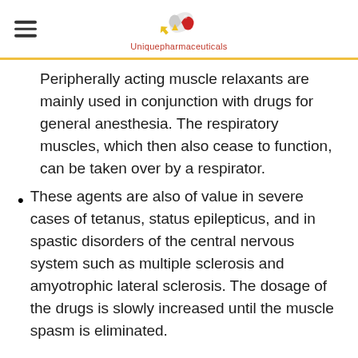Uniquepharmaceuticals
Peripherally acting muscle relaxants are mainly used in conjunction with drugs for general anesthesia. The respiratory muscles, which then also cease to function, can be taken over by a respirator.
These agents are also of value in severe cases of tetanus, status epilepticus, and in spastic disorders of the central nervous system such as multiple sclerosis and amyotrophic lateral sclerosis. The dosage of the drugs is slowly increased until the muscle spasm is eliminated.